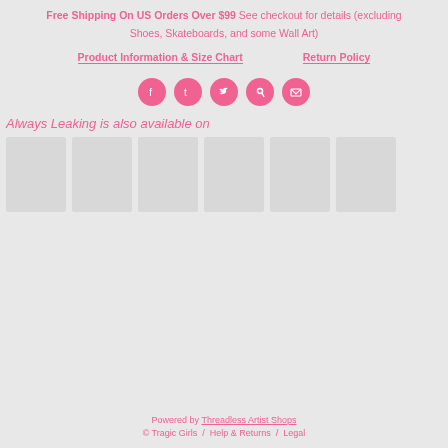Free Shipping On US Orders Over $99 See checkout for details (excluding Shoes, Skateboards, and some Wall Art)
Product Information & Size Chart    Return Policy
[Figure (infographic): Row of 5 pink circular social media share icons: Facebook, Tumblr, Twitter, Pinterest, Email]
Always Leaking is also available on
[Figure (infographic): Six light gray product thumbnail placeholder boxes in a horizontal row]
Powered by Threadless Artist Shops
© Tragic Girls  /  Help & Returns  /  Legal